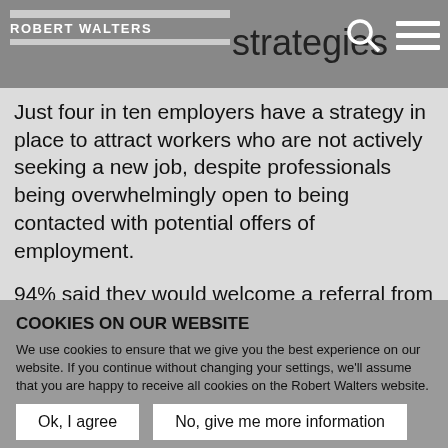ROBERT WALTERS strategies
Just four in ten employers have a strategy in place to attract workers who are not actively seeking a new job, despite professionals being overwhelmingly open to being contacted with potential offers of employment.
94% said they would welcome a referral from a friend or colleague and 91% would be open to being contacted by a recruiter or headhunter. The least popular means of being contacted among passive candidates was email (42% would
COOKIES ON OUR WEBSITE
We use cookies to ensure that we give you the best experience on our website. If you continue without changing your settings, we'll assume that you are happy to receive all cookies on the Robert Walters website. However, if you would like to, you can change your cookie settings at any time. To find out more, please view our privacy policy.
Ok, I agree | No, give me more information